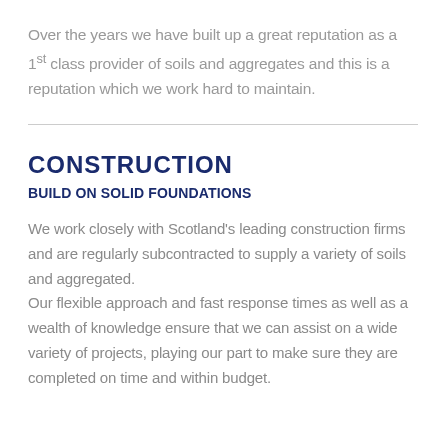Over the years we have built up a great reputation as a 1st class provider of soils and aggregates and this is a reputation which we work hard to maintain.
CONSTRUCTION
BUILD ON SOLID FOUNDATIONS
We work closely with Scotland's leading construction firms and are regularly subcontracted to supply a variety of soils and aggregated.
Our flexible approach and fast response times as well as a wealth of knowledge ensure that we can assist on a wide variety of projects, playing our part to make sure they are completed on time and within budget.